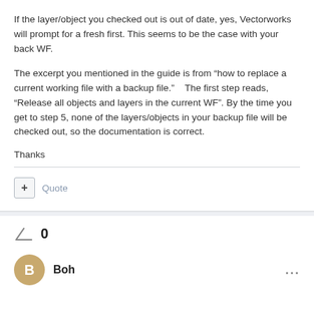If the layer/object you checked out is out of date, yes, Vectorworks will prompt for a fresh first. This seems to be the case with your back WF.
The excerpt you mentioned in the guide is from “how to replace a current working file with a backup file.”    The first step reads, “Release all objects and layers in the current WF”. By the time you get to step 5, none of the layers/objects in your backup file will be checked out, so the documentation is correct.
Thanks
Quote
0
Boh